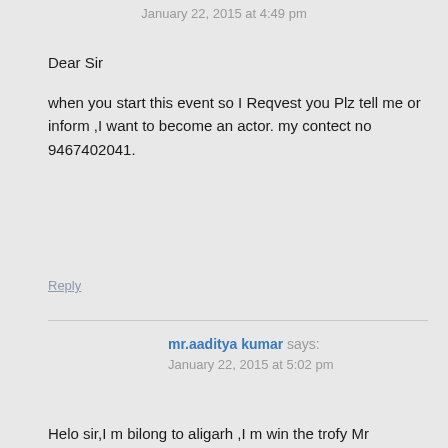January 22, 2015 at 4:49 pm
Dear Sir
when you start this event so I Reqvest you Plz tell me or inform ,I want to become an actor. my contect no 9467402041.
Reply
mr.aaditya kumar says:
January 22, 2015 at 5:02 pm
Helo sir,I m bilong to aligarh ,I m win the trofy Mr